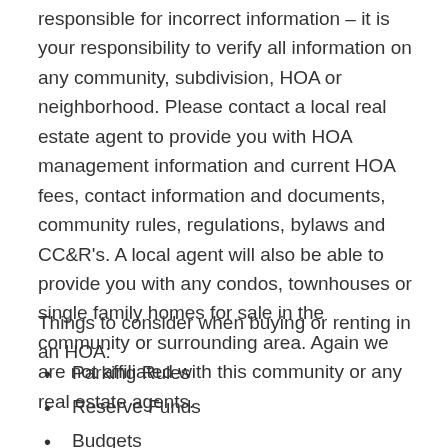responsible for incorrect information – it is your responsibility to verify all information on any community, subdivision, HOA or neighborhood. Please contact a local real estate agent to provide you with HOA management information and current HOA fees, contact information and documents, community rules, regulations, bylaws and CC&R's. A local agent will also be able to provide you with any condos, townhouses or single family homes for sale in the community or surrounding area. Again we are not affiliated with this community or any real estate agents.
Things to consider when buying or renting in an HOA:
Parking Rules
Reserve Funds
Budgets
Rental Restrictions